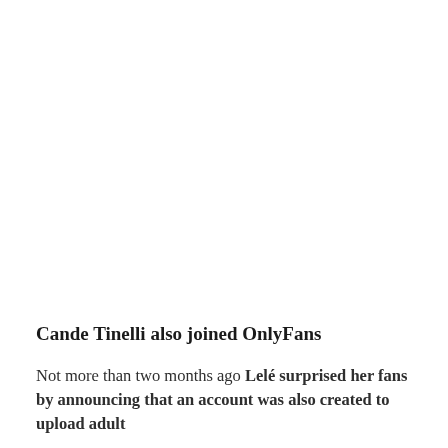Cande Tinelli also joined OnlyFans
Not more than two months ago Lelé surprised her fans by announcing that an account was also created to upload adult